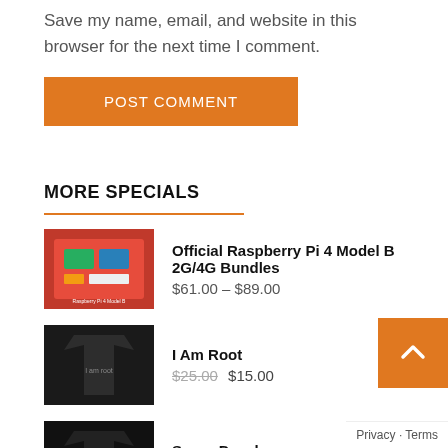Save my name, email, and website in this browser for the next time I comment.
POST COMMENT
MORE SPECIALS
Official Raspberry Pi 4 Model B 2G/4G Bundles $61.00 – $89.00
I Am Root $25.00 $15.00
Senor Developer $25.00 $19.99
3 in 1 USB 3.0 Flash Drive $20.00 – $30.00